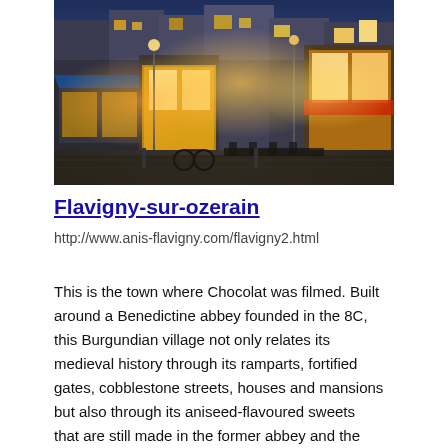[Figure (photo): Night/dusk street scene of a European village with illuminated storefronts, warm golden lighting on buildings, outdoor café seating, and bicycles along a cobblestone street.]
Flavigny-sur-ozerain
http://www.anis-flavigny.com/flavigny2.html
This is the town where Chocolat was filmed. Built around a Benedictine abbey founded in the 8C, this Burgundian village not only relates its medieval history through its ramparts, fortified gates, cobblestone streets, houses and mansions but also through its aniseed-flavoured sweets that are still made in the former abbey and the smell of which still...